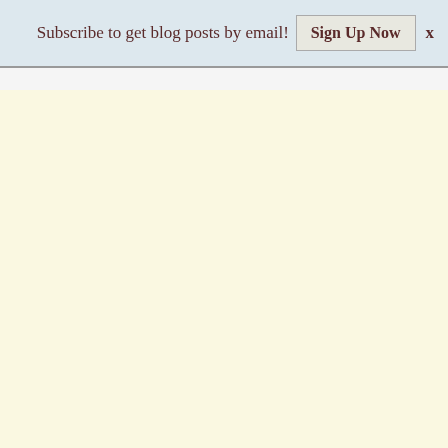Subscribe to get blog posts by email!  Sign Up Now  X